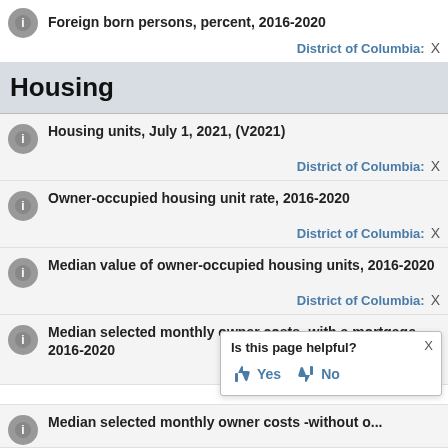Foreign born persons, percent, 2016-2020
District of Columbia: X
Housing
Housing units, July 1, 2021, (V2021)
District of Columbia: X
Owner-occupied housing unit rate, 2016-2020
District of Columbia: X
Median value of owner-occupied housing units, 2016-2020
District of Columbia: X
Median selected monthly owner costs -with a mortgage, 2016-2020
District of Columbia: X
Is this page helpful? Yes No
Median selected monthly owner costs -without a...